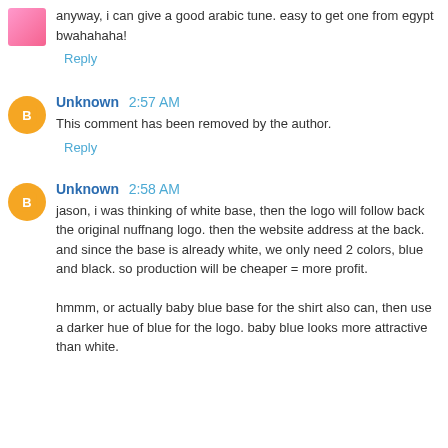anyway, i can give a good arabic tune. easy to get one from egypt bwahahaha!
Reply
Unknown 2:57 AM
This comment has been removed by the author.
Reply
Unknown 2:58 AM
jason, i was thinking of white base, then the logo will follow back the original nuffnang logo. then the website address at the back.
and since the base is already white, we only need 2 colors, blue and black. so production will be cheaper = more profit.

hmmm, or actually baby blue base for the shirt also can, then use a darker hue of blue for the logo. baby blue looks more attractive than white.